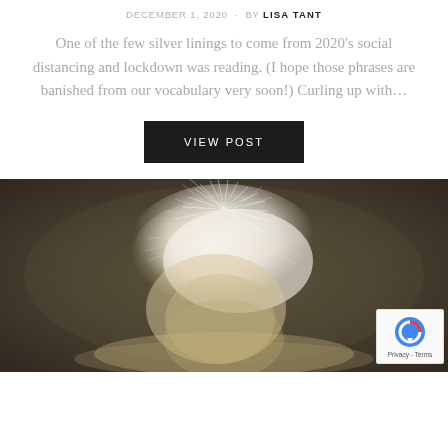DECEMBER 1, 2020  ·  BY LISA TANT
One of the few silver linings to come from 2020's social distancing and lockdown was reading. (I hope those phrases are banished from our vocabulary very soon!) Curling up with…
VIEW POST
[Figure (photo): Close-up photo of large white feathery plumes/fascinators against a dark olive-brown background, likely a decorative hat accessory]